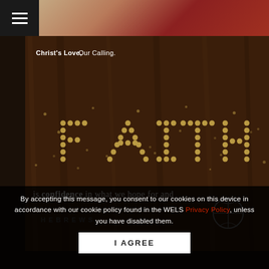[Figure (screenshot): Website screenshot showing a religious-themed page with 'FAITH' spelled out in gold beads on dark wood background, with tagline 'Christ's Love, Our Calling.' and partial text 'is confidence in what we hope for and']
By accepting this message, you consent to our cookies on this device in accordance with our cookie policy found in the WELS Privacy Policy, unless you have disabled them.
I AGREE